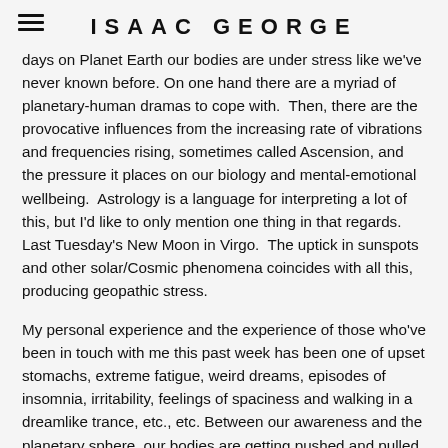ISAAC GEORGE
days on Planet Earth our bodies are under stress like we've never known before. On one hand there are a myriad of planetary-human dramas to cope with.  Then, there are the provocative influences from the increasing rate of vibrations and frequencies rising, sometimes called Ascension, and the pressure it places on our biology and mental-emotional wellbeing.  Astrology is a language for interpreting a lot of this, but I'd like to only mention one thing in that regards.  Last Tuesday's New Moon in Virgo.  The uptick in sunspots and other solar/Cosmic phenomena coincides with all this, producing geopathic stress.
My personal experience and the experience of those who've been in touch with me this past week has been one of upset stomachs, extreme fatigue, weird dreams, episodes of insomnia, irritability, feelings of spaciness and walking in a dreamlike trance, etc., etc. Between our awareness and the planetary sphere, our bodies are getting pushed and pulled in many ways. Amazing how resilient they are, until they are not.  Self-care is Numero Uno during these times.